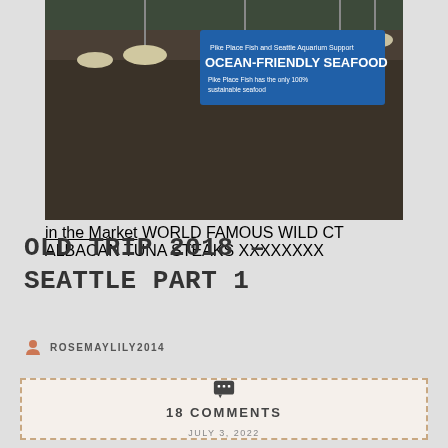[Figure (photo): Interior photo of Pike Place Fish Market in Seattle. A large blue sign reads 'OCEAN-FRIENDLY SEAFOOD' and 'Pike Place Fish and Seattle Aquarium Support'. People are visible browsing the fish market stalls with hanging lights overhead.]
OLD TRIP 2018 – SEATTLE PART 1
ROSEMAYLILY2014
18 COMMENTS
JULY 3, 2022